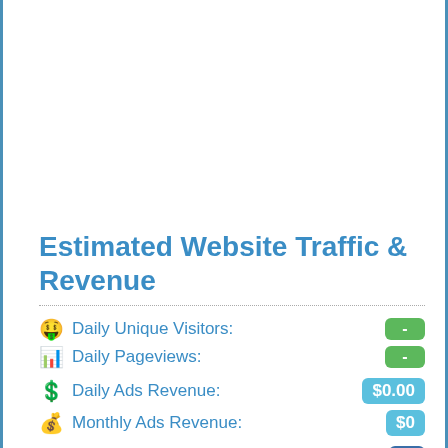Estimated Website Traffic & Revenue
Daily Unique Visitors: -
Daily Pageviews: -
Daily Ads Revenue: $0.00
Monthly Ads Revenue: $0
Avg. Time On Site: :-
Yearly Ads Revenue: $0